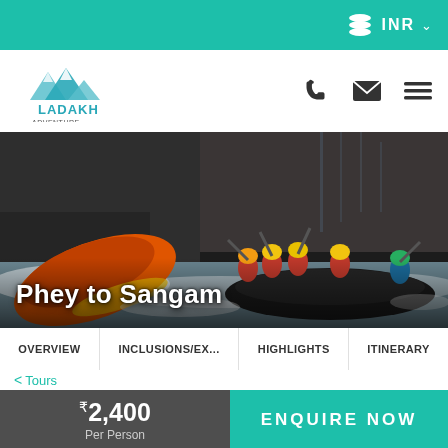INR
[Figure (logo): Ladakh Adventure Holiday logo with mountains]
[Figure (photo): White water rafting scene - Phey to Sangam, orange raft overturning on left, group of rafters in dark raft on right, rocky canyon background]
Phey to Sangam
OVERVIEW
INCLUSIONS/EX...
HIGHLIGHTS
ITINERARY
< Tours
₹2,400 Per Person
ENQUIRE NOW
♥ 100% Secure&Easy Booking  ♥ Best Price Guaranteed